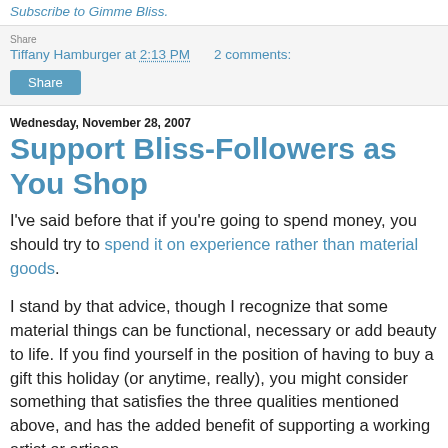Subscribe to Gimme Bliss.
Tiffany Hamburger at 2:13 PM   2 comments:
Share
Wednesday, November 28, 2007
Support Bliss-Followers as You Shop
I've said before that if you're going to spend money, you should try to spend it on experience rather than material goods.
I stand by that advice, though I recognize that some material things can be functional, necessary or add beauty to life. If you find yourself in the position of having to buy a gift this holiday (or anytime, really), you might consider something that satisfies the three qualities mentioned above, and has the added benefit of supporting a working artist or artisan.
The place to browse for these gifts is a wonderful